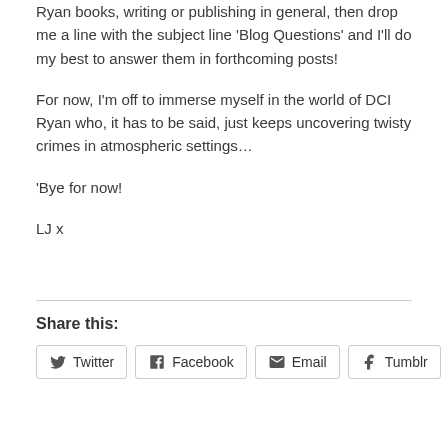Ryan books, writing or publishing in general, then drop me a line with the subject line 'Blog Questions' and I'll do my best to answer them in forthcoming posts!
For now, I'm off to immerse myself in the world of DCI Ryan who, it has to be said, just keeps uncovering twisty crimes in atmospheric settings…
'Bye for now!
LJ x
Share this:
Twitter  Facebook  Email  Tumblr